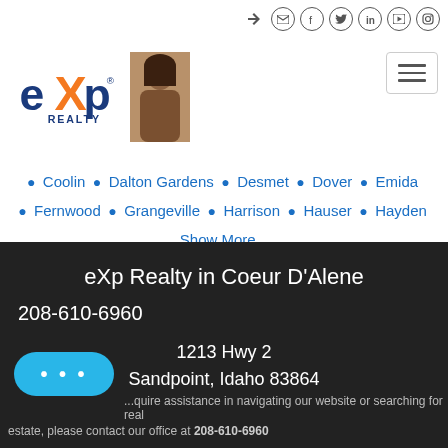[Figure (logo): eXp Realty logo with agent photo]
Coolin  Dalton Gardens  Desmet  Dover  Emida  Fernwood  Grangeville  Harrison  Hauser  Hayden  Show More...
eXp Realty in Coeur D'Alene
208-610-6960
1213 Hwy 2
Sandpoint, Idaho 83864
...quire assistance in navigating our website or searching for real estate, please contact our office at 208-610-6960